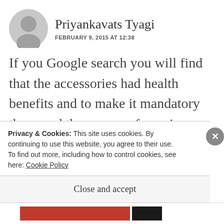[Figure (photo): Gray circular avatar/profile placeholder icon]
Priyankavats Tyagi
FEBRUARY 9, 2015 AT 12:38
If you Google search you will find that the accessories had health benefits and to make it mandatory they used the excuse of marriage symbols and religious customs they were actually acupressure aids
Privacy & Cookies: This site uses cookies. By continuing to use this website, you agree to their use.
To find out more, including how to control cookies, see here: Cookie Policy
Close and accept